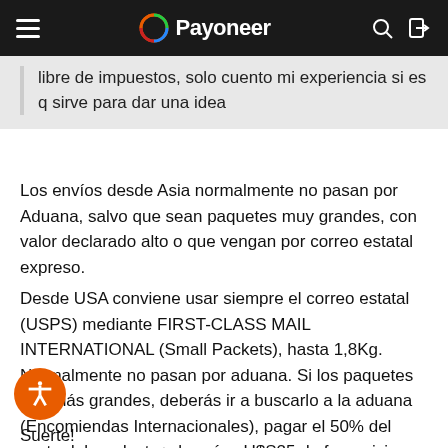Payoneer
libre de impuestos, solo cuento mi experiencia si es q sirve para dar una idea
Los envíos desde Asia normalmente no pasan por Aduana, salvo que sean paquetes muy grandes, con valor declarado alto o que vengan por correo estatal expreso.
Desde USA conviene usar siempre el correo estatal (USPS) mediante FIRST-CLASS MAIL INTERNATIONAL (Small Packets), hasta 1,8Kg. Normalmente no pasan por aduana. Si los paquetes son más grandes, deberás ir a buscarlo a la aduana (Encomiendas Internacionales), pagar el 50% del costo del producto+el envío - U$S25 de franquicia (una vez año).
Suerte!